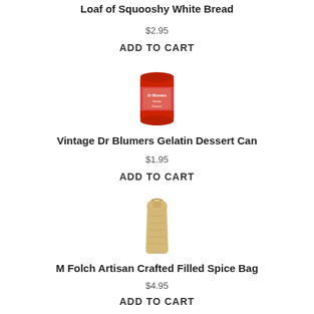Loaf of Squooshy White Bread
$2.95
ADD TO CART
[Figure (photo): Red tin can labeled Vintage Dr Blumers Gelatin Dessert Can]
Vintage Dr Blumers Gelatin Dessert Can
$1.95
ADD TO CART
[Figure (photo): Small burlap or parchment spice bag with contents visible]
M Folch Artisan Crafted Filled Spice Bag
$4.95
ADD TO CART
[Figure (photo): White bag of Best flour with blue label]
Bag of Flour